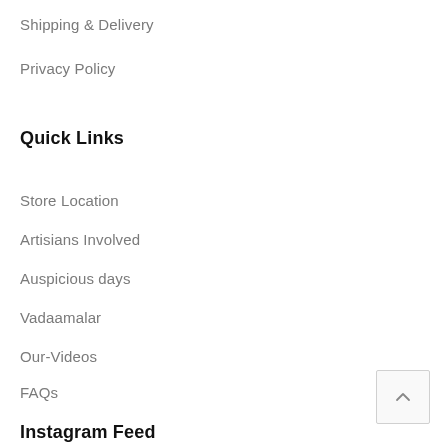Shipping & Delivery
Privacy Policy
Quick Links
Store Location
Artisians Involved
Auspicious days
Vadaamalar
Our-Videos
FAQs
Instagram Feed